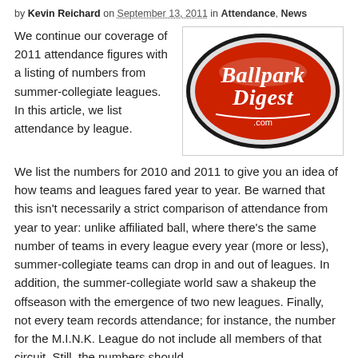by Kevin Reichard on September 13, 2011 in Attendance, News
[Figure (logo): Ballpark Digest .com oval red logo with white script text]
We continue our coverage of 2011 attendance figures with a listing of numbers from summer-collegiate leagues. In this article, we list attendance by league.
We list the numbers for 2010 and 2011 to give you an idea of how teams and leagues fared year to year. Be warned that this isn't necessarily a strict comparison of attendance from year to year: unlike affiliated ball, where there's the same number of teams in every league every year (more or less), summer-collegiate teams can drop in and out of leagues. In addition, the summer-collegiate world saw a shakeup the offseason with the emergence of two new leagues. Finally, not every team records attendance; for instance, the number for the M.I.N.K. League do not include all members of that circuit. Still, the numbers should